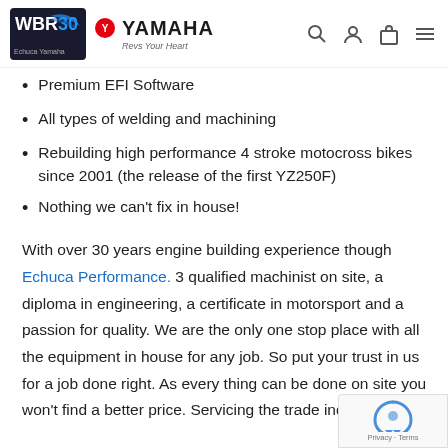WBR Echuca Yamaha - Revs Your Heart
Premium EFI Software
All types of welding and machining
Rebuilding high performance 4 stroke motocross bikes since 2001 (the release of the first YZ250F)
Nothing we can't fix in house!
With over 30 years engine building experience though Echuca Performance. 3 qualified machinist on site, a diploma in engineering, a certificate in motorsport and a passion for quality. We are the only one stop place with all the equipment in house for any job. So put your trust in us for a job done right. As every thing can be done on site you won't find a better price. Servicing the trade industry for